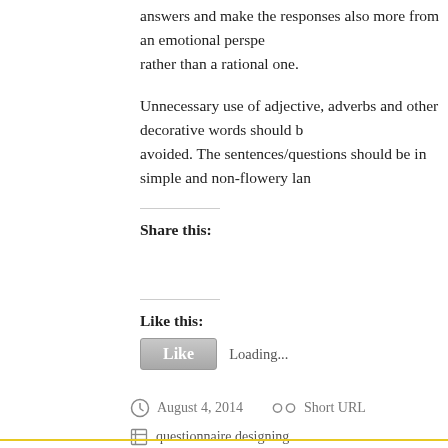answers and make the responses also more from an emotional perspective rather than a rational one.
Unnecessary use of adjective, adverbs and other decorative words should be avoided. The sentences/questions should be in simple and non-flowery language.
Share this:
Like this:
Like  Loading...
August 4, 2014   Short URL
questionnaire designing